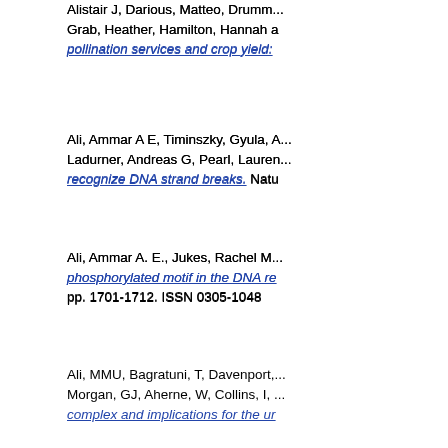Alistair J, Darious, Matteo, Drumm... Grab, Heather, Hamilton, Hannah a pollination services and crop yield: ...
Ali, Ammar A E, Timinszky, Gyula, A... Ladurner, Andreas G, Pearl, Lauren... recognize DNA strand breaks. Natu...
Ali, Ammar A. E., Jukes, Rachel M... phosphorylated motif in the DNA re... pp. 1701-1712. ISSN 0305-1048
Ali, MMU, Bagratuni, T, Davenport,... Morgan, GJ, Aherne, W, Collins, I, ... complex and implications for the ur...
Alkandri, Ahmad, Bangalore, Naga... detection using OT-MACH filter in c... Jacksonville, FL, USA.
Allbrooke, B M M, Asquith, L, Cerri... Suruliz, K, Sutton, M R, Vivarelli, I... particles decaying to jets in the ATL... ISSN 0370-2693
Allbrooke, B M M, Asquith, L, Cerri... The ATLAS Collaboration, and othe...